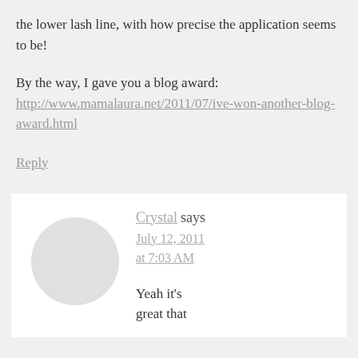the lower lash line, with how precise the application seems to be!
By the way, I gave you a blog award: http://www.mamalaura.net/2011/07/ive-won-another-blog-award.html
Reply
Crystal says July 12, 2011 at 7:03 AM
Yeah it's great that